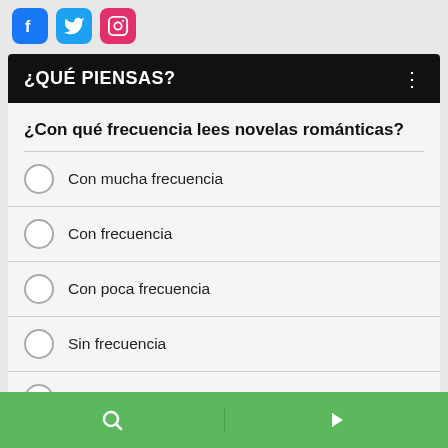[Figure (logo): Social media icons: Facebook (blue), Twitter (blue), Instagram (pink/red)]
¿QUÉ PIENSAS?
¿Con qué frecuencia lees novelas románticas?
Con mucha frecuencia
Con frecuencia
Con poca frecuencia
Sin frecuencia
Otra / No aplica para mí
SIGUIENTE *
[Figure (screenshot): Green bottom navigation bar with search icon on left and play/next icon on right]